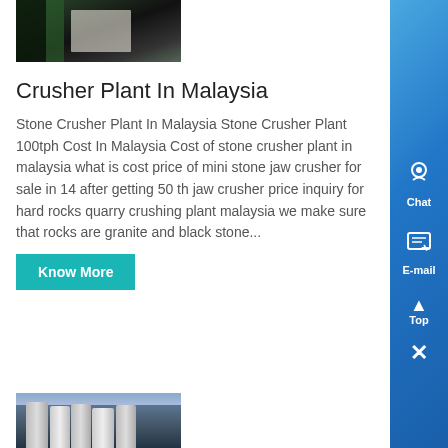[Figure (photo): Photo of a dark green industrial or garden structure with columns and a white table/chairs visible in background]
Crusher Plant In Malaysia
Stone Crusher Plant In Malaysia Stone Crusher Plant 100tph Cost In Malaysia Cost of stone crusher plant in malaysia what is cost price of mini stone jaw crusher for sale in 14 after getting 50 th jaw crusher price inquiry for hard rocks quarry crushing plant malaysia we make sure that rocks are granite and black stone...
[Figure (photo): Photo of industrial silos or storage tanks against a blue sky]